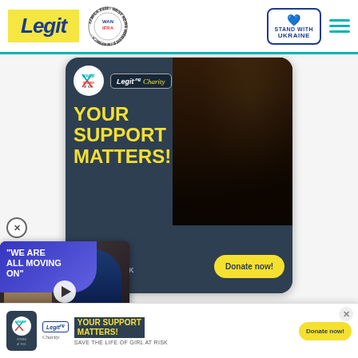Legit — WARIF WAN IFRA 2021 Best News Website in Africa — STAND WITH UKRAINE
[Figure (infographic): Charity advertisement banner: WARIF and Legit.ng Charity logos, photo of person in distress, bold yellow text 'YOUR SUPPORT MATTERS!', 'SAVE THE LIFE OF GIRL AT RISK', Donate now! button]
[Figure (other): Video overlay with purple speech bubble text 'WE ARE ALL MOVING ON' and photo of two people (man in blue jacket and blonde woman), play button overlay]
r League champions d record in Fulham
[Figure (infographic): Bottom sticky ad: WARIF and Legit.ng Charity logos, 'YOUR SUPPORT MATTERS!' headline, 'SAVE THE LIFE OF GIRL AT RISK', Donate now! button, close X button]